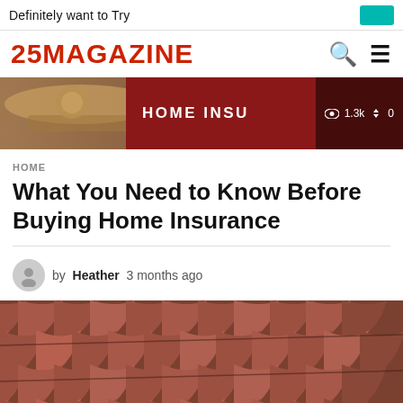Definitely want to Try
[Figure (logo): 25MAGAZINE logo in red with search and hamburger menu icons]
[Figure (photo): Banner image showing HOME INSURANCE text on dark red background with view count 1.3k and 0 votes]
HOME
What You Need to Know Before Buying Home Insurance
by Heather 3 months ago
[Figure (photo): Close-up photograph of terracotta/clay roof tiles on a house roof]